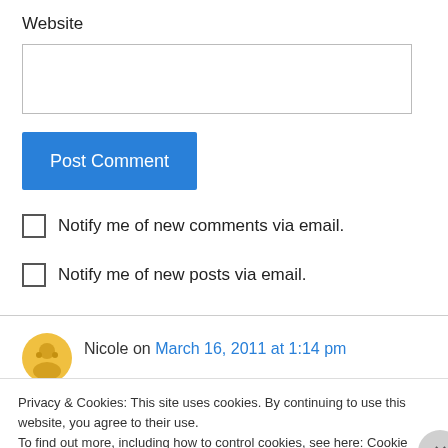Website
[Figure (screenshot): Empty text input box for website URL]
Post Comment
Notify me of new comments via email.
Notify me of new posts via email.
Nicole on March 16, 2011 at 1:14 pm
Privacy & Cookies: This site uses cookies. By continuing to use this website, you agree to their use.
To find out more, including how to control cookies, see here: Cookie Policy
Close and accept